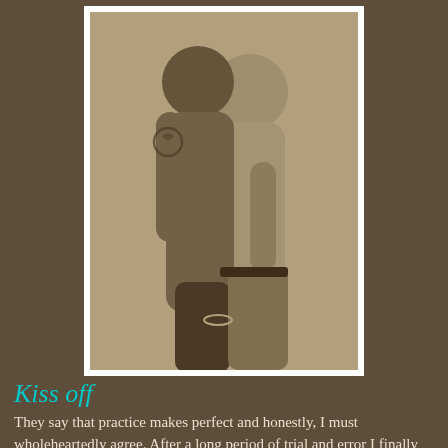[Figure (photo): Black and white / sepia toned artistic photograph of two people embracing, shirtless, with tattoos visible on one arm. They are holding hands behind one figure's back.]
Kiss off
They say that practice makes perfect and honestly, I must wholeheartedly agree. After a long period of trial and error I finally figured out that all I truly wanted was to share my life with one man. However I couldn't have come